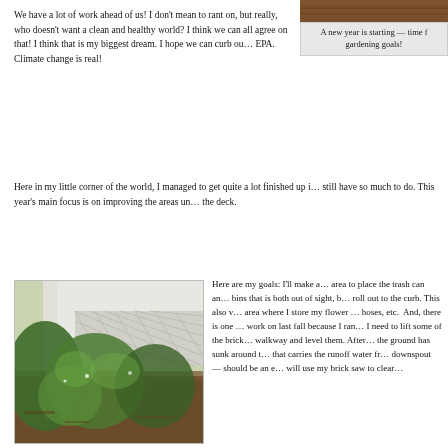[Figure (photo): Photo of a wooden deck area at top right, brown wood visible]
A new year is starting — time f… gardening goals!
We have a lot of work ahead of us! I don't mean to rant on, but really, who doesn't want a clean and healthy world? I think we can all agree on that! I think that is my biggest dream. I hope we can curb ou… EPA. Climate change is real!
Here in my little corner of the world, I managed to get quite a lot finished up i… still have so much to do. This year's main focus is on improving the areas un… the deck.
[Figure (photo): Garden photo showing shrubs, plants and mulch beside a white lattice deck structure]
Here are my goals: I'll make a… area to place the trash can an… bins that is both out of sight, b… roll out to the curb. This also v… area where I store my flower … hoses, etc. And, there is one … work on last fall because I ran… I need to lift some of the brick… walkway and level them. After… the ground has sunk around t… that carries the runoff water fr… downspout — should be an e… will use my brick saw to clear…